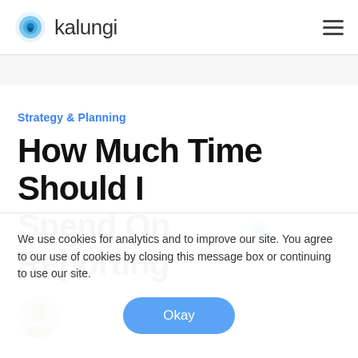kalungi
Strategy & Planning
How Much Time Should I Spend On Reporting?
We use cookies for analytics and to improve our site. You agree to our use of cookies by closing this message box or continuing to use our site.
Okay